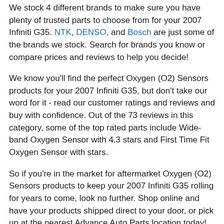We stock 4 different brands to make sure you have plenty of trusted parts to choose from for your 2007 Infiniti G35. NTK, DENSO, and Bosch are just some of the brands we stock. Search for brands you know or compare prices and reviews to help you decide!
We know you'll find the perfect Oxygen (O2) Sensors products for your 2007 Infiniti G35, but don't take our word for it - read our customer ratings and reviews and buy with confidence. Out of the 73 reviews in this category, some of the top rated parts include Wide-band Oxygen Sensor with 4.3 stars and First Time Fit Oxygen Sensor with stars.
So if you're in the market for aftermarket Oxygen (O2) Sensors products to keep your 2007 Infiniti G35 rolling for years to come, look no further. Shop online and have your products shipped direct to your door, or pick up at the nearest Advance Auto Parts location today!
Oxygen (O2) Sensors Brands To Make Your 2007 Infiniti G35 Last